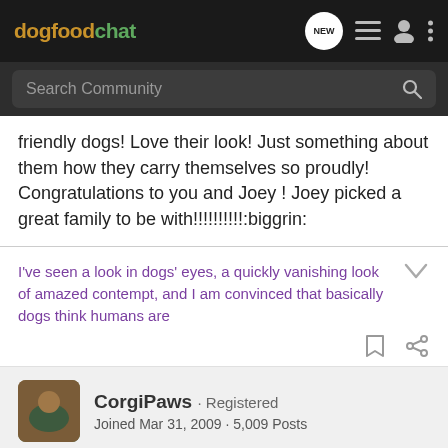dogfoodchat
Search Community
friendly dogs! Love their look! Just something about them how they carry themselves so proudly! Congratulations to you and Joey ! Joey picked a great family to be with!!!!!!!!!!:biggrin:
I've seen a look in dogs' eyes, a quickly vanishing look of amazed contempt, and I am convinced that basically dogs think humans are
CorgiPaws · Registered
Joined Mar 31, 2009 · 5,009 Posts
#11 · Apr 2, 2010